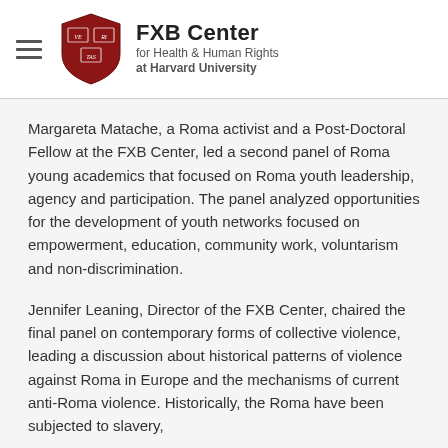FXB Center for Health & Human Rights at Harvard University
Margareta Matache, a Roma activist and a Post-Doctoral Fellow at the FXB Center, led a second panel of Roma young academics that focused on Roma youth leadership, agency and participation. The panel analyzed opportunities for the development of youth networks focused on empowerment, education, community work, voluntarism and non-discrimination.
Jennifer Leaning, Director of the FXB Center, chaired the final panel on contemporary forms of collective violence, leading a discussion about historical patterns of violence against Roma in Europe and the mechanisms of current anti-Roma violence. Historically, the Roma have been subjected to slavery,